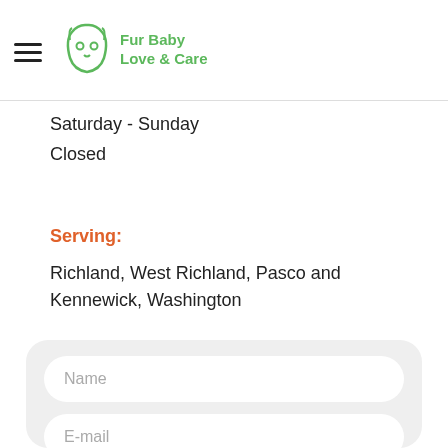Fur Baby Love & Care
Saturday - Sunday
Closed
Serving:
Richland, West Richland, Pasco and Kennewick, Washington
[Figure (screenshot): Contact form with fields: Name, E-mail, Enter your Mobile No.]